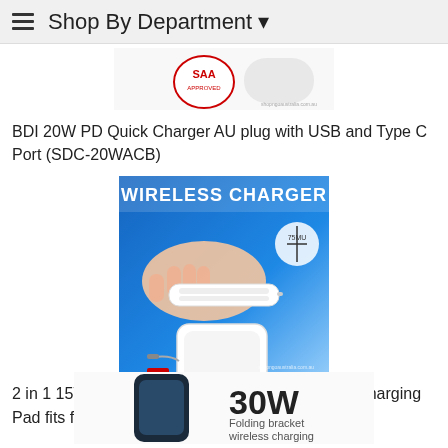Shop By Department
[Figure (photo): Partial view of BDI 20W PD Quick Charger product with SAA certification logo]
BDI 20W PD Quick Charger AU plug with USB and Type C Port (SDC-20WACB)
[Figure (photo): Wireless charger product image showing a hand holding a white flat wireless charger pad with a square charging pad below and USB cable]
2 in 1 15W Magnetic Wireless Charger Foldable Charging Pad fits for iPhone 13/12 Pro & Watch
[Figure (photo): Partial view of 30W Folding bracket wireless charging product]